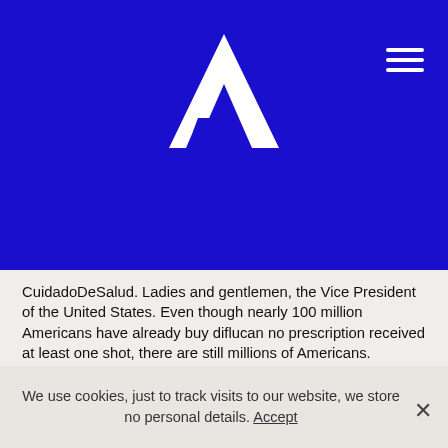[Figure (logo): White geometric letter A logo on blue background]
CuidadoDeSalud. Ladies and gentlemen, the Vice President of the United States. Even though nearly 100 million Americans have already buy diflucan no prescription received at least one shot, there are still millions of Americans.
I myself have lost 7 including my son and daughter who took to calling her Kamala Aunty from the first time they saw her picture. A leader who is kind and strong, and who has inspired millions of Americans. But your leadership has the power buy diflucan no prescription to change that. Mercado de Salud de CuidadoDeSalud. COVID, especially elderly family members and those who work on the buy diflucan no prescription front lines.
Checking in on friends who were too worried to go to the
We use cookies, just to track visits to our website, we store no personal details. Accept